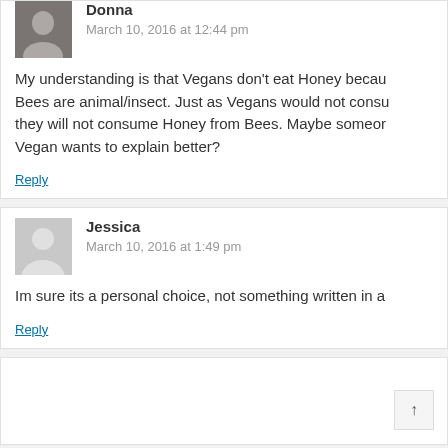Donna
March 10, 2016 at 12:44 pm
My understanding is that Vegans don't eat Honey because Bees are animal/insect. Just as Vegans would not consume they will not consume Honey from Bees. Maybe someone Vegan wants to explain better?
Reply
Jessica
March 10, 2016 at 1:49 pm
Im sure its a personal choice, not something written in a
Reply